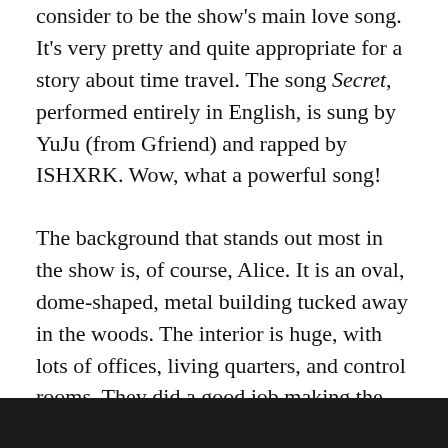consider to be the show's main love song. It's very pretty and quite appropriate for a story about time travel. The song Secret, performed entirely in English, is sung by YuJu (from Gfriend) and rapped by ISHXRK. Wow, what a powerful song!
The background that stands out most in the show is, of course, Alice. It is an oval, dome-shaped, metal building tucked away in the woods. The interior is huge, with lots of offices, living quarters, and control rooms. They did a good job making the aesthetics of the place look futuristic. And the guns in 2050 are so cool – they assemble themselves when the user grabs them and they leave extremely tiny holes in the victim. So awesome!
[Figure (photo): Dark image strip visible at the bottom of the page, appears to be a partial photograph.]